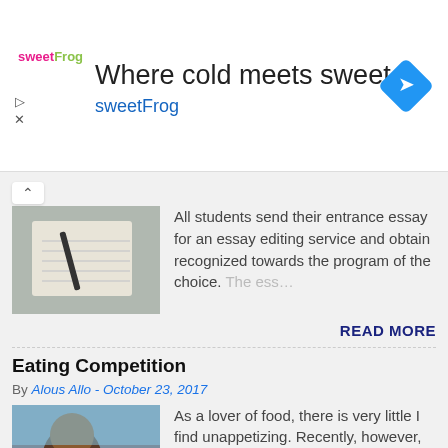[Figure (other): SweetFrog advertisement banner with logo, headline 'Where cold meets sweet', brand name 'sweetFrog', navigation arrow diamond icon, play and close controls]
All students send their entrance essay for an essay editing service and obtain recognized towards the program of the choice. The ess...
READ MORE
Eating Competition
By Alous Allo - October 23, 2017
[Figure (photo): Person eating at a food competition outdoors]
As a lover of food, there is very little I find unappetizing. Recently, however, several restaurant ads on television have caused m...
READ MORE